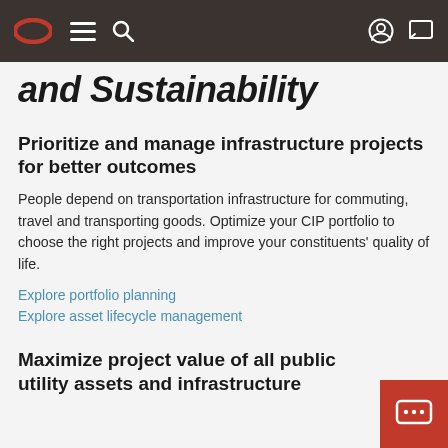Oracle navigation bar with logo, menu, search, profile, and chat icons
and Sustainability
Prioritize and manage infrastructure projects for better outcomes
People depend on transportation infrastructure for commuting, travel and transporting goods. Optimize your CIP portfolio to choose the right projects and improve your constituents' quality of life.
Explore portfolio planning
Explore asset lifecycle management
Maximize project value of all public utility assets and infrastructure